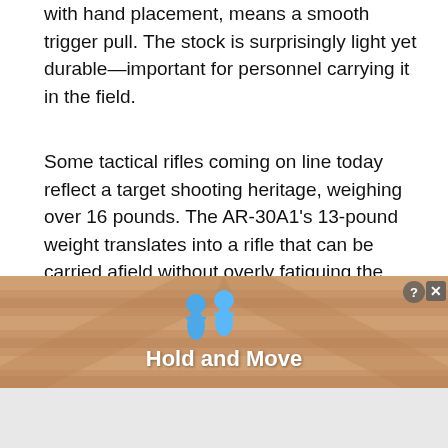with hand placement, means a smooth trigger pull. The stock is surprisingly light yet durable—important for personnel carrying it in the field.
Some tactical rifles coming on line today reflect a target shooting heritage, weighing over 16 pounds. The AR-30A1's 13-pound weight translates into a rifle that can be carried afield without overly fatiguing the marksman and is easier to adopt to non-standard firing positions even offhand if needed.
I have evaluated tactical rifles weighing significantly more than the AR-30A1. While certainly accurate from
[Figure (screenshot): Advertisement banner overlay showing 'Hold and Move' text with blue people icons on a wooden/striped background, with close (X) and help (?) buttons in top right corner]